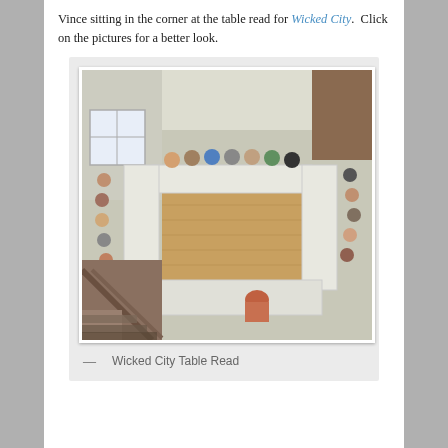Vince sitting in the corner at the table read for Wicked City.  Click on the pictures for a better look.
[Figure (photo): Overhead/elevated view of a table read session with many people seated around a large rectangular arrangement of tables in a large room. Wooden floors visible in the center. Staircase railing visible in the foreground lower-left.]
— Wicked City Table Read